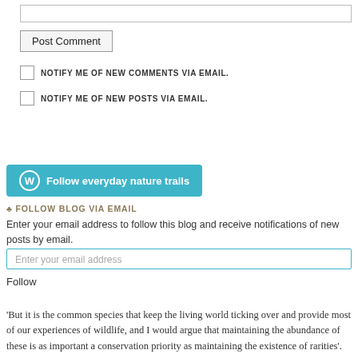[input bar]
Post Comment
NOTIFY ME OF NEW COMMENTS VIA EMAIL.
NOTIFY ME OF NEW POSTS VIA EMAIL.
Follow everyday nature trails
♣ FOLLOW BLOG VIA EMAIL
Enter your email address to follow this blog and receive notifications of new posts by email.
Enter your email address
Follow
'But it is the common species that keep the living world ticking over and provide most of our experiences of wildlife, and I would argue that maintaining the abundance of these is as important a conservation priority as maintaining the existence of rarities'.